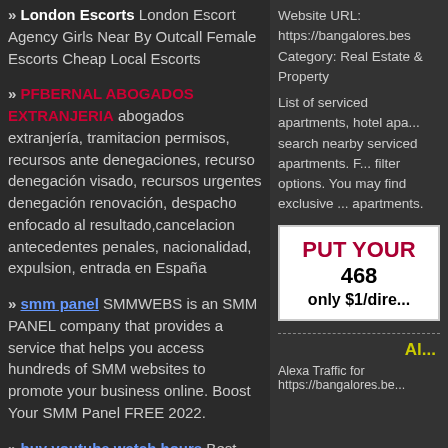» London Escorts London Escort Agency Girls Near By Outcall Female Escorts Cheap Local Escorts
» PFBERNAL ABOGADOS EXTRANJERIA abogados extranjería, tramitacion permisos, recursos ante denegaciones, recurso denegación visado, recursos urgentes denegación renovación, despacho enfocado al resultado,cancelacion antecedentes penales, nacionalidad, expulsion, entrada en España
» smm panel SMMWEBS is an SMM PANEL company that provides a service that helps you access hundreds of SMM websites to promote your business online. Boost Your SMM Panel FREE 2022.
» buy youtube watch hours Best
Website URL: https://bangalores.bes
Category: Real Estate & Property
List of serviced apartments, hotel apa... search nearby serviced apartments. F... filter options. You may find exclusive ... apartments.
[Figure (other): Advertisement banner: PUT YOUR 468... only $1/dire...]
Al...
Alexa Traffic for https://bangalores.be...